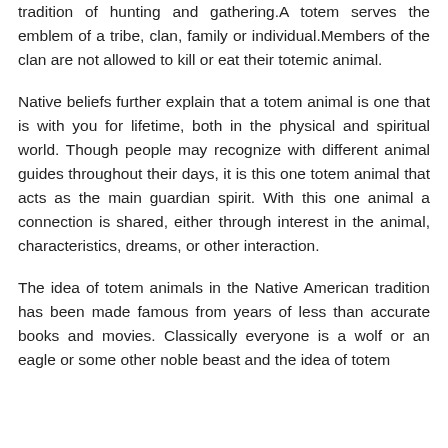tradition of hunting and gathering.A totem serves the emblem of a tribe, clan, family or individual.Members of the clan are not allowed to kill or eat their totemic animal.
Native beliefs further explain that a totem animal is one that is with you for lifetime, both in the physical and spiritual world. Though people may recognize with different animal guides throughout their days, it is this one totem animal that acts as the main guardian spirit. With this one animal a connection is shared, either through interest in the animal, characteristics, dreams, or other interaction.
The idea of totem animals in the Native American tradition has been made famous from years of less than accurate books and movies. Classically everyone is a wolf or an eagle or some other noble beast and the idea of totem